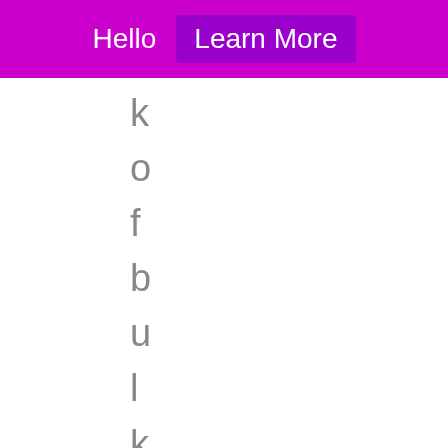Hello  Learn More
k o f b u l k t i s s u e h e a t